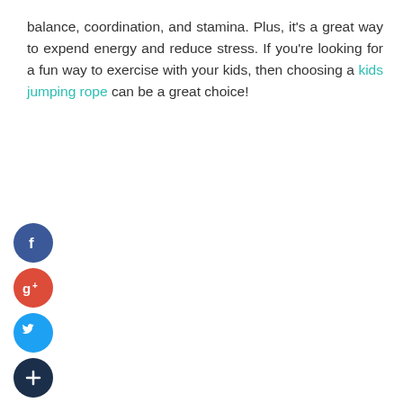balance, coordination, and stamina. Plus, it's a great way to expend energy and reduce stress. If you're looking for a fun way to exercise with your kids, then choosing a kids jumping rope can be a great choice!
[Figure (infographic): Vertical stack of four social media share buttons: Facebook (blue circle with 'f'), Google+ (red circle with 'g+'), Twitter (light blue circle with bird icon), and a dark navy circle with a '+' icon.]